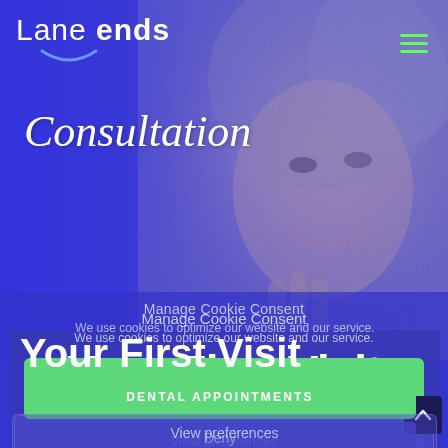[Figure (screenshot): Lane Ends dental practice website screenshot showing navigation bar with logo, a smiling woman photo in background, cookie consent overlay, 'Consultation' italic heading, 'Your First Visit' bold heading, 'DENTAL APPOINTMENTS' green button, and 'View preferences' outlined button.]
Lane ends
Consultation
Manage Cookie Consent
We use cookies to optimize our website and our service.
Your First Visit
All cookies
DENTAL APPOINTMENTS
Deny
View preferences